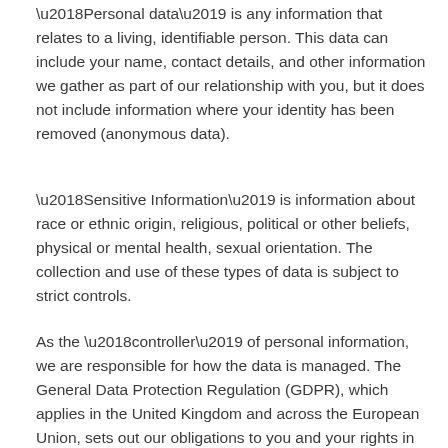‘Personal data’ is any information that relates to a living, identifiable person. This data can include your name, contact details, and other information we gather as part of our relationship with you, but it does not include information where your identity has been removed (anonymous data).
‘Sensitive Information’ is information about race or ethnic origin, religious, political or other beliefs, physical or mental health, sexual orientation. The collection and use of these types of data is subject to strict controls.
As the ‘controller’ of personal information, we are responsible for how the data is managed. The General Data Protection Regulation (GDPR), which applies in the United Kingdom and across the European Union, sets out our obligations to you and your rights in respect of how